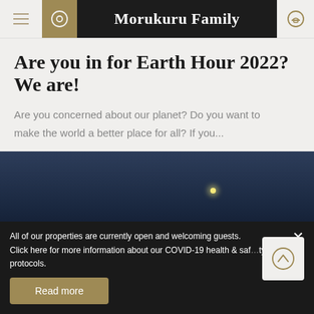Morukuru Family
Are you in for Earth Hour 2022? We are!
Are you concerned about our planet? Do you want to make the world a better place for all? If you...
[Figure (photo): Night sky photograph showing a dark blue twilight sky with a small bright moon/celestial object visible]
All of our properties are currently open and welcoming guests. Click here for more information about our COVID-19 health & safety protocols.
Read more